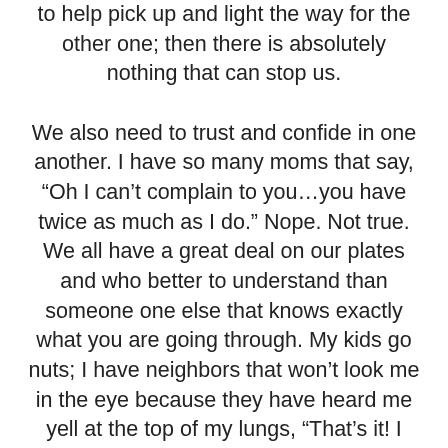to help pick up and light the way for the other one; then there is absolutely nothing that can stop us.

We also need to trust and confide in one another. I have so many moms that say, “Oh I can’t complain to you…you have twice as much as I do.” Nope. Not true. We all have a great deal on our plates and who better to understand than someone one else that knows exactly what you are going through. My kids go nuts; I have neighbors that won’t look me in the eye because they have heard me yell at the top of my lungs, “That’s it! I have had it; I am done asking you – everyone